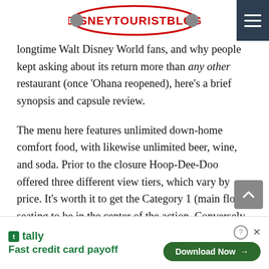DISNEYTOURISTBLOG
longtime Walt Disney World fans, and why people kept asking about its return more than any other restaurant (once 'Ohana reopened), here's a brief synopsis and capsule review.

The menu here features unlimited down-home comfort food, with likewise unlimited beer, wine, and soda. Prior to the closure Hoop-Dee-Doo offered three different view tiers, which vary by price. It's worth it to get the Category 1 (main floor) seating to be in the center of the action. Conversely, if you don't like being "picked on" you might want to opt for Category 2 or 3 balcony seating to be safe.
[Figure (other): Tally advertisement banner: Fast credit card payoff with Download Now button]